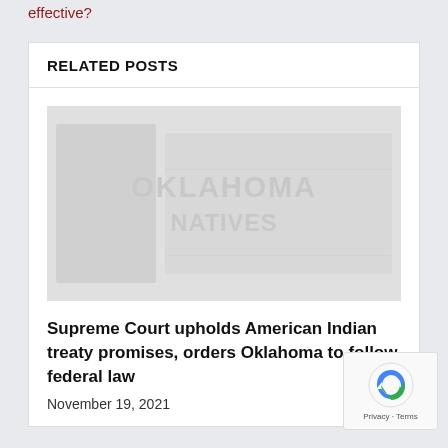effective?
RELATED POSTS
[Figure (logo): Oklahoma law-related placeholder image with watermark text 'OKLAHOMA NATIVES']
Supreme Court upholds American Indian treaty promises, orders Oklahoma to follow federal law
November 19, 2021